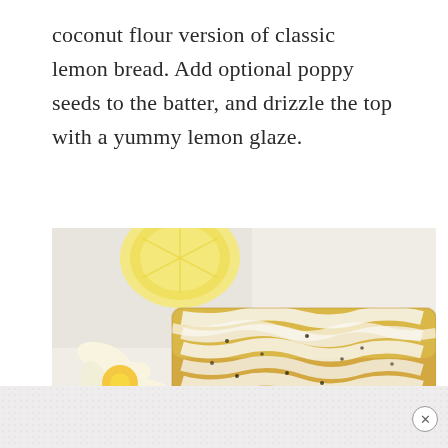coconut flour version of classic lemon bread. Add optional poppy seeds to the batter, and drizzle the top with a yummy lemon glaze.
[Figure (photo): Close-up photo of lemon poppy seed bread loaf with white lemon glaze drizzled over the top, with a yellow frangipani flower and half a lemon visible in the background on a white surface.]